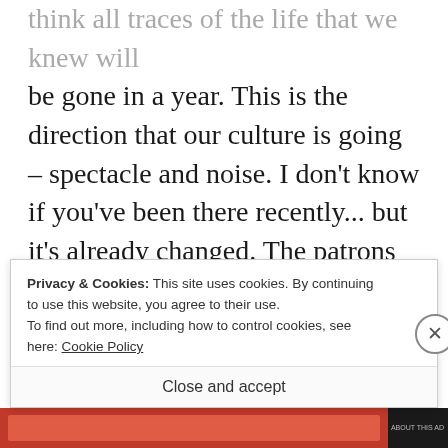think all traces of the life that we knew will be gone in a year. This is the direction that our culture is going – spectacle and noise. I don't know if you've been there recently... but it's already changed. The patrons have changed. I don't understand it myself... it's like families with screaming, illmannered children had dug small ditches around the perimeter of the theater, lying in wait for the day when they could rise up, order a
Privacy & Cookies: This site uses cookies. By continuing to use this website, you agree to their use.
To find out more, including how to control cookies, see here: Cookie Policy
Close and accept